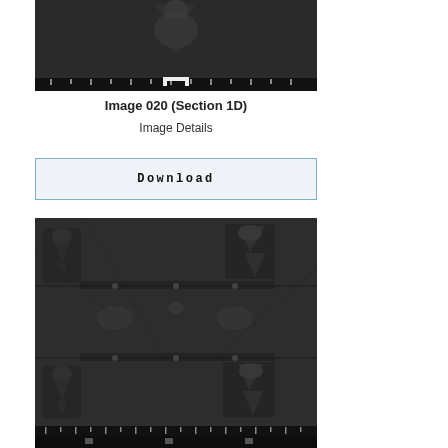[Figure (photo): Black and white photograph of what appears to be the Shroud of Turin, showing a faint figure impression, with measurement rulers along the bottom edge. Upper portion of image.]
Image 020 (Section 1D)
Image Details
Download
[Figure (photo): Black and white photograph of what appears to be the Shroud of Turin, showing full-length figure impressions with visible burn marks, patches, and stitch lines, with measurement rulers along the bottom edge. Lower portion / full view.]